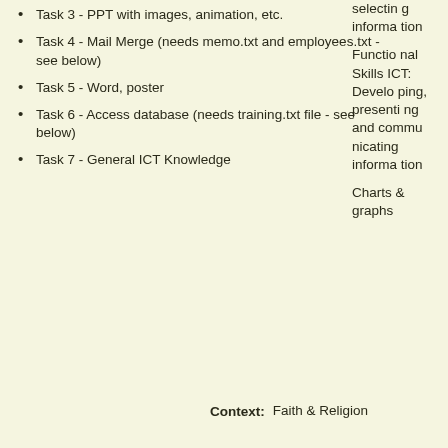Task 3 - PPT with images, animation, etc.
Task 4 - Mail Merge (needs memo.txt and employees.txt - see below)
Task 5 - Word, poster
Task 6 - Access database (needs training.txt file - see below)
Task 7 - General ICT Knowledge
selecting information

Functional Skills ICT: Developing, presenting and communicating information

Charts & graphs
Context: Faith & Religion